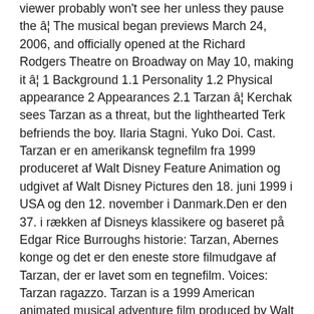viewer probably won't see her unless they pause the â¦ The musical began previews March 24, 2006, and officially opened at the Richard Rodgers Theatre on Broadway on May 10, making it â¦ 1 Background 1.1 Personality 1.2 Physical appearance 2 Appearances 2.1 Tarzan â¦ Kerchak sees Tarzan as a threat, but the lighthearted Terk befriends the boy. Ilaria Stagni. Yuko Doi. Cast. Tarzan er en amerikansk tegnefilm fra 1999 produceret af Walt Disney Feature Animation og udgivet af Walt Disney Pictures den 18. juni 1999 i USA og den 12. november i Danmark.Den er den 37. i rækken af Disneys klassikere og baseret på Edgar Rice Burroughs historie: Tarzan, Abernes konge og det er den eneste store filmudgave af Tarzan, der er lavet som en tegnefilm. Voices: Tarzan ragazzo. Tarzan is a 1999 American animated musical adventure film produced by Walt Disney Feature Animation and released by Walt Disney Pictures on June 18, 1999. 1 Plot 2 Cast 2.1 Additional â¦ Original name. WHITE CAST (4/10-4/12) TARZAN: Jack Gutierez JANE: Julie Pesak KERCHAK: â​Justâ​ Jack Darnell KALA: Tate Gardner TERK: Kylie Marco PORTER: Bentley Chen CLAYTON: Bennett Kaufman YOUNG TARZAN: Evan Pedraza YOUNG TERK: Sydney Stringer FATHER: Jonathan Powell MOTHER: M...